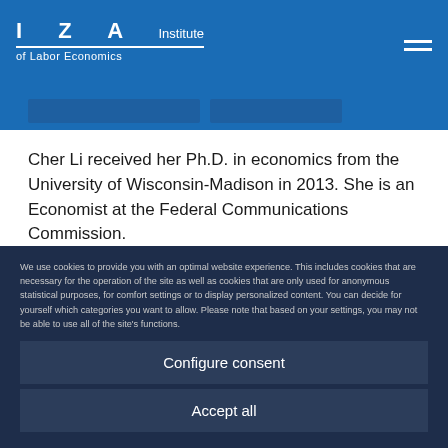IZA Institute of Labor Economics
Cher Li received her Ph.D. in economics from the University of Wisconsin-Madison in 2013. She is an Economist at the Federal Communications Commission.
Before joining the FCC, she was an assistant professor at the Colorado State University with research focuses on labor topics related to women and how public policies and social institutes
We use cookies to provide you with an optimal website experience. This includes cookies that are necessary for the operation of the site as well as cookies that are only used for anonymous statistical purposes, for comfort settings or to display personalized content. You can decide for yourself which categories you want to allow. Please note that based on your settings, you may not be able to use all of the site's functions.
Configure consent
Accept all